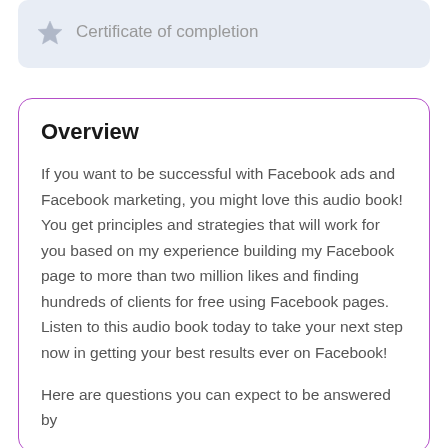Certificate of completion
Overview
If you want to be successful with Facebook ads and Facebook marketing, you might love this audio book! You get principles and strategies that will work for you based on my experience building my Facebook page to more than two million likes and finding hundreds of clients for free using Facebook pages. Listen to this audio book today to take your next step now in getting your best results ever on Facebook!
Here are questions you can expect to be answered by